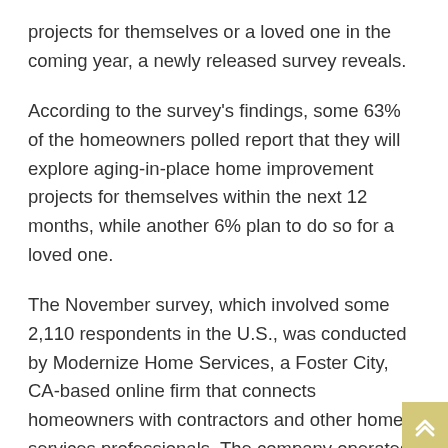projects for themselves or a loved one in the coming year, a newly released survey reveals.
According to the survey's findings, some 63% of the homeowners polled report that they will explore aging-in-place home improvement projects for themselves within the next 12 months, while another 6% plan to do so for a loved one.
The November survey, which involved some 2,110 respondents in the U.S., was conducted by Modernize Home Services, a Foster City, CA-based online firm that connects homeowners with contractors and other home-services professionals. The company operates in more than 15 home segments, including bathrooms and kitchens.